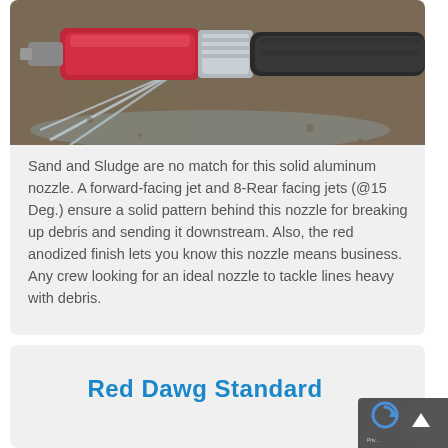[Figure (photo): Close-up photo of a red aluminum nozzle with water jets spraying from the front, connected to a dark hose with a silver coupling. Water streams are visible against a wet concrete surface.]
Sand and Sludge are no match for this solid aluminum nozzle. A forward-facing jet and 8-Rear facing jets (@15 Deg.) ensure a solid pattern behind this nozzle for breaking up debris and sending it downstream. Also, the red anodized finish lets you know this nozzle means business. Any crew looking for an ideal nozzle to tackle lines heavy with debris.
Red Dawg Standard